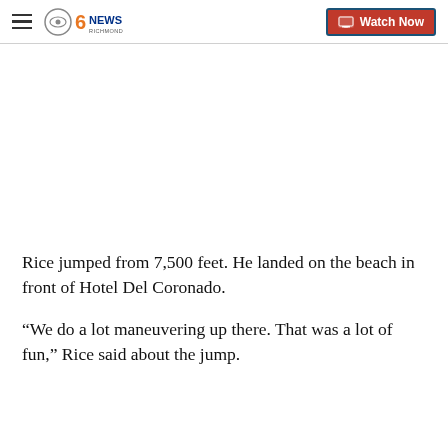CBS 6 News Richmond — Watch Now
[Figure (other): Blank white video/image placeholder area]
Rice jumped from 7,500 feet. He landed on the beach in front of Hotel Del Coronado.
“We do a lot maneuvering up there. That was a lot of fun,” Rice said about the jump.